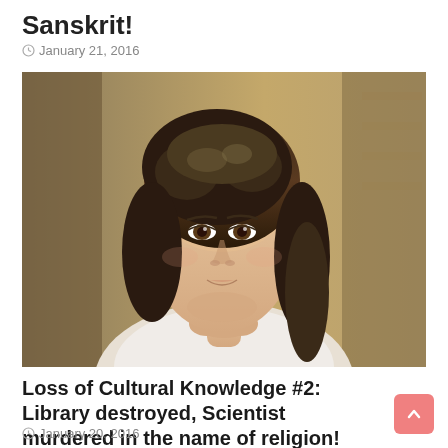Sanskrit!
January 21, 2016
[Figure (photo): A young woman with curly dark hair, resting her chin on her hands, with a thoughtful expression, wearing a white garment, with a blurred library/bookshelf background.]
Loss of Cultural Knowledge #2: Library destroyed, Scientist murdered in the name of religion!
January 20, 2016